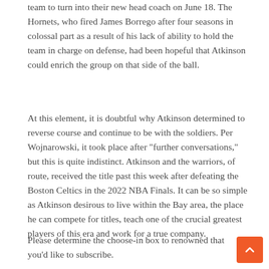team to turn into their new head coach on June 18. The Hornets, who fired James Borrego after four seasons in colossal part as a result of his lack of ability to hold the team in charge on defense, had been hopeful that Atkinson could enrich the group on that side of the ball.
At this element, it is doubtful why Atkinson determined to reverse course and continue to be with the soldiers. Per Wojnarowski, it took place after "further conversations," but this is quite indistinct. Atkinson and the warriors, of route, received the title past this week after defeating the Boston Celtics in the 2022 NBA Finals. It can be so simple as Atkinson desirous to live within the Bay area, the place he can compete for titles, teach one of the crucial greatest players of this era and work for a true company.
Please determine the choose-in box to renowned that you'd like to subscribe.